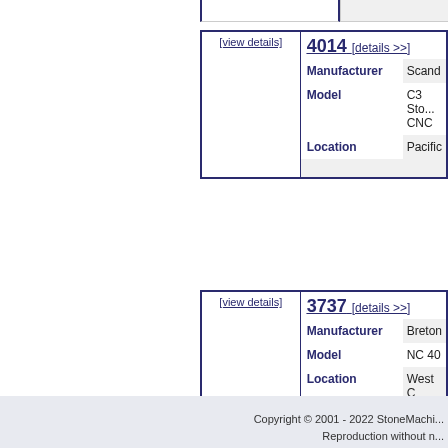| Image | ID / Details |
| --- | --- |
| [view details] | 4014 [details >>]
Manufacturer: Scand...
Model: C3 Sto... CNC
Location: Pacific... |
| [view details] | 3737 [details >>]
Manufacturer: Breton...
Model: NC 40...
Location: West C... |
Page... Showing M...
Copyright © 2001 - 2022 StoneMachi...
Reproduction without n...